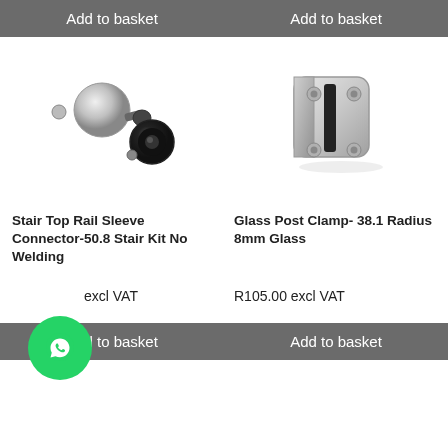Add to basket
Add to basket
[Figure (photo): Exploded view of a stainless steel stair top rail sleeve connector kit with components shown separated]
[Figure (photo): Stainless steel glass post clamp with rubber gasket, D-shaped housing with four mounting holes]
Stair Top Rail Sleeve Connector-50.8 Stair Kit No Welding
Glass Post Clamp- 38.1 Radius 8mm Glass
[Figure (logo): WhatsApp green circular chat button icon]
excl VAT
R105.00 excl VAT
Add to basket
Add to basket